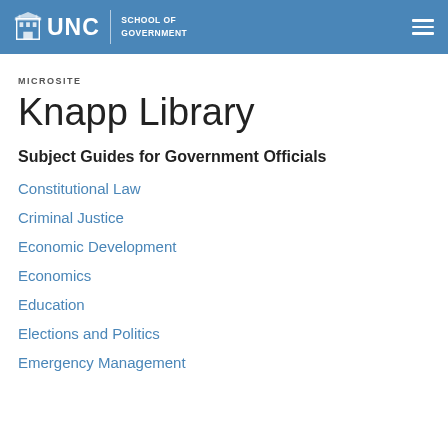UNC School of Government
MICROSITE
Knapp Library
Subject Guides for Government Officials
Constitutional Law
Criminal Justice
Economic Development
Economics
Education
Elections and Politics
Emergency Management